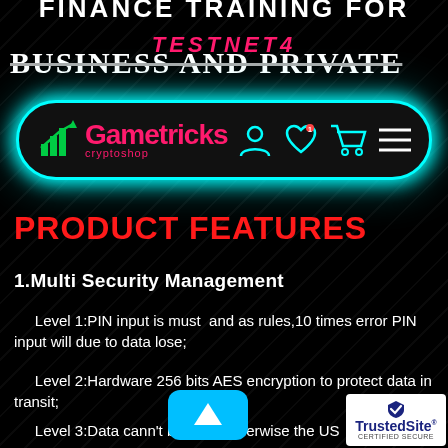FINANCE TRAINING FOR
TESTNET4
Business and Private
[Figure (logo): Gametricks CryptoShop logo navbar with cyan border glow, featuring nav icons for user, wishlist, cart, and menu]
PRODUCT FEATURES
1.Multi Security Management
Level 1:PIN input is must  and as rules,10 times error PIN input will due to data lose;
Level 2:Hardware 256 bits AES encryption to protect data in transit;
Level 3:Data cann't be trace otherwise the US
[Figure (infographic): Cyan scroll-up arrow button]
[Figure (logo): TrustedSite Certified Secure badge]